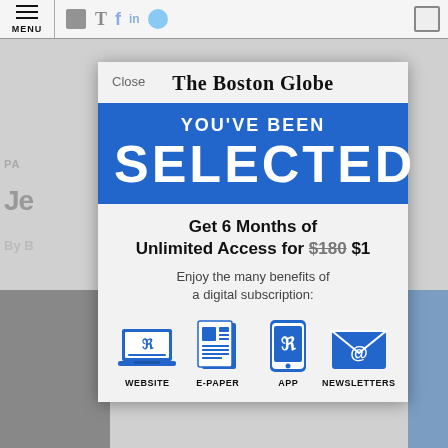[Figure (screenshot): Boston Globe subscription modal overlay on a news article page. Shows 'YOU'VE BEEN SELECTED' banner in blue, offer for 6 months unlimited access for $1 (crossed out $180), and four benefit icons: WEBSITE, E-PAPER, APP, NEWSLETTERS.]
The Boston Globe
YOU'VE BEEN
SELECTED
Get 6 Months of Unlimited Access for $180 $1
Enjoy the many benefits of a digital subscription:
WEBSITE
E-PAPER
APP
NEWSLETTERS